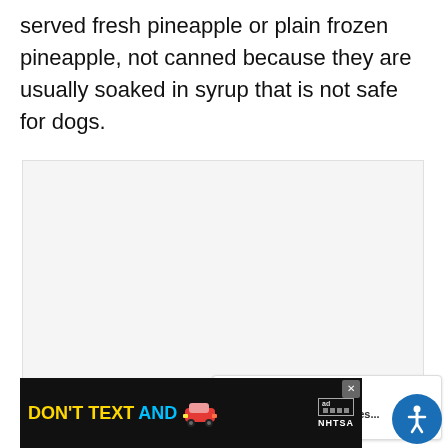served fresh pineapple or plain frozen pineapple, not canned because they are usually soaked in syrup that is not safe for dogs.
[Figure (other): Large blank image placeholder area (light gray background)]
[Figure (infographic): UI overlay elements: heart/like button (teal circle), like count 1.2K, share button]
[Figure (infographic): What's Next card showing thumbnail and text 'What Vegetables...']
[Figure (infographic): DON'T TEXT AND [car emoji] advertisement banner from NHTSA]